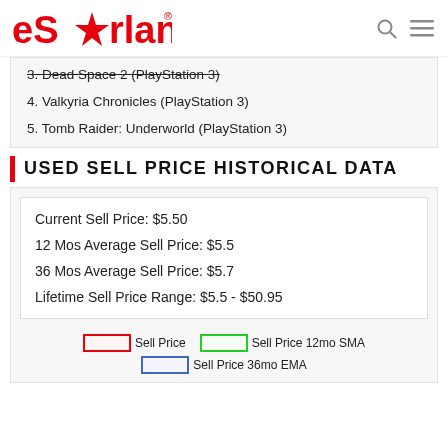eStarland
3. Dead Space 2 (PlayStation 3)
4. Valkyria Chronicles (PlayStation 3)
5. Tomb Raider: Underworld (PlayStation 3)
USED SELL PRICE HISTORICAL DATA
Current Sell Price: $5.50
12 Mos Average Sell Price: $5.5
36 Mos Average Sell Price: $5.7
Lifetime Sell Price Range: $5.5 - $50.95
[Figure (other): Legend showing Sell Price (red box), Sell Price 12mo SMA (green box), Sell Price 36mo EMA (blue box)]